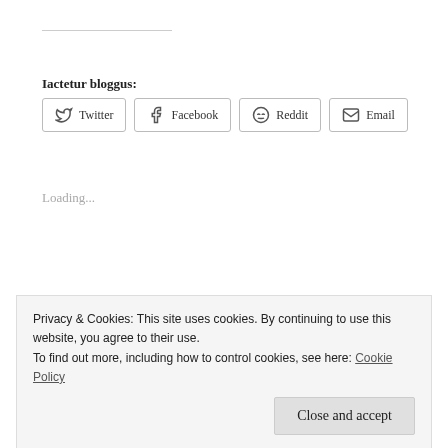Iactetur bloggus:
[Figure (other): Social share buttons: Twitter, Facebook, Reddit, Email]
Loading...
rogueclassicism: 1. n. an abnormal state or
Privacy & Cookies: This site uses cookies. By continuing to use this website, you agree to their use. To find out more, including how to control cookies, see here: Cookie Policy
Close and accept
Ancient Greece and Rome compiled by one so